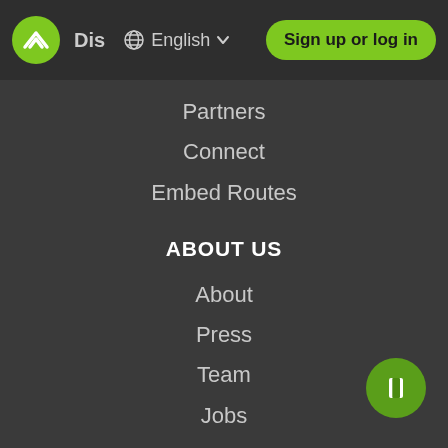Dis  English  Sign up or log in
Partners
Connect
Embed Routes
ABOUT US
About
Press
Team
Jobs
INTEGRATIONS
GPS computers
Smartwatches
E-bikes